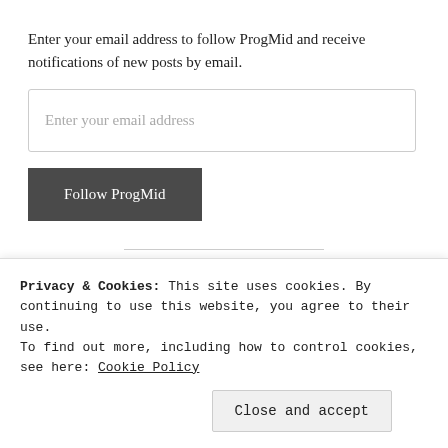Enter your email address to follow ProgMid and receive notifications of new posts by email.
Enter your email address
Follow ProgMid
POSTS BY MONTH
June 2017 (6)
Privacy & Cookies: This site uses cookies. By continuing to use this website, you agree to their use.
To find out more, including how to control cookies, see here: Cookie Policy
Close and accept